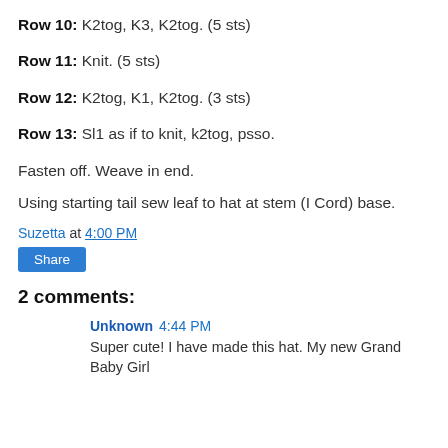Row 10:  K2tog, K3, K2tog.  (5 sts)
Row 11:  Knit.  (5 sts)
Row 12:  K2tog, K1, K2tog.  (3 sts)
Row 13:  Sl1 as if to knit, k2tog, psso.
Fasten off.  Weave in end.
Using starting tail sew leaf to hat at stem (I Cord) base.
Suzetta at 4:00 PM
Share
2 comments:
Unknown  4:44 PM
Super cute! I have made this hat.  My new Grand Baby Girl